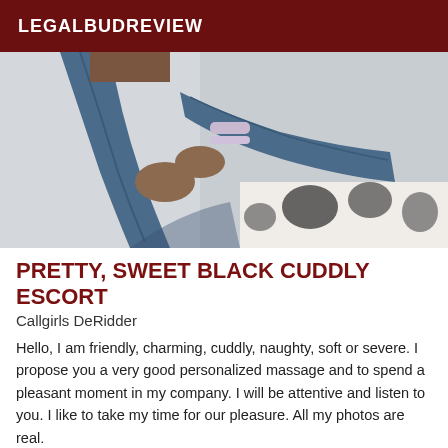LEGALBUDREVIEW
[Figure (photo): Photo of a person wearing blue jeans seated on a black and white patterned ottoman, cropped to show legs and torso with bracelets on wrist]
PRETTY, SWEET BLACK CUDDLY ESCORT
Callgirls DeRidder
Hello, I am friendly, charming, cuddly, naughty, soft or severe. I propose you a very good personalized massage and to spend a pleasant moment in my company. I will be attentive and listen to you. I like to take my time for our pleasure. All my photos are real.